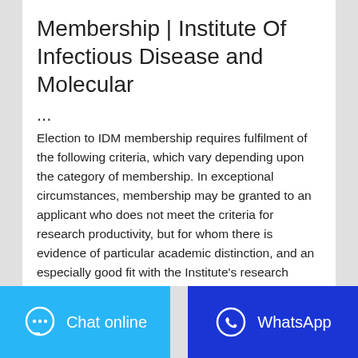Membership | Institute Of Infectious Disease and Molecular
...
Election to IDM membership requires fulfilment of the following criteria, which vary depending upon the category of membership. In exceptional circumstances, membership may be granted to an applicant who does not meet the criteria for research productivity, but for whom there is evidence of particular academic distinction, and an especially good fit with the Institute’s research focus areas.
Contatta il fornitore | WhatsApp
Chat online | WhatsApp